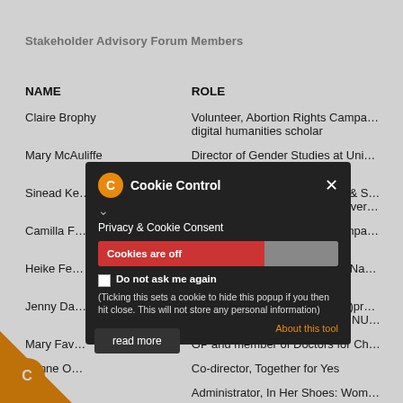Stakeholder Advisory Forum Members
| NAME | ROLE |
| --- | --- |
| Claire Brophy | Volunteer, Abortion Rights Campa… digital humanities scholar |
| Mary McAuliffe | Director of Gender Studies at Uni… College Dublin |
| Sinead Ke… | Coalition to Repeal the Eighth & S… University Tutor, Maynooth Univer… |
| Camilla F… | Volunteer, Abortion Rights Campa… Lecturer, Maynooth University |
| Heike Fe… | Senior Lecturer in Philosophy, Na… University of Ireland, Galway |
| Jenny Da… | Postdoctoral researcher, Re(al)pr… Justice: Gender and Disability, NU… |
| Mary Fav… | GP and member of Doctors for Ch… |
| …inne O… | Co-director, Together for Yes |
| …rcy | Administrator, In Her Shoes: Wom… |
[Figure (screenshot): Cookie Control popup overlay with 'Cookies are off' toggle, 'Do not ask me again' checkbox, description text, and 'About this tool' link]